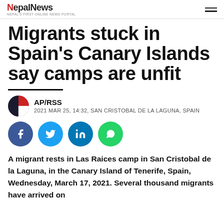NepalNews — Nepal's first online news portal
Migrants stuck in Spain's Canary Islands say camps are unfit
AP/RSS — 2021 MAR 25, 14:32, SAN CRISTOBAL DE LA LAGUNA, SPAIN
[Figure (other): Social sharing buttons: Facebook, Twitter, LinkedIn, WhatsApp]
A migrant rests in Las Raices camp in San Cristobal de la Laguna, in the Canary Island of Tenerife, Spain, Wednesday, March 17, 2021. Several thousand migrants have arrived on